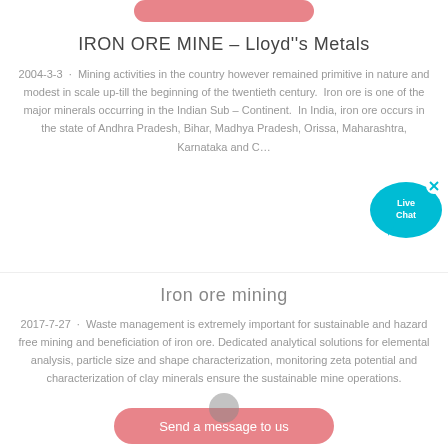[Figure (other): Pink rounded button at top (partial, cropped)]
IRON ORE MINE – Lloyd''s Metals
2004-3-3 · Mining activities in the country however remained primitive in nature and modest in scale up-till the beginning of the twentieth century. Iron ore is one of the major minerals occurring in the Indian Sub – Continent. In India, iron ore occurs in the state of Andhra Pradesh, Bihar, Madhya Pradesh, Orissa, Maharashtra, Karnataka and C…
[Figure (other): Live Chat bubble widget (blue speech bubble with 'Live Chat' text) and pink 'Send a message to us' button with microphone icon]
Iron ore mining
2017-7-27 · Waste management is extremely important for sustainable and hazard free mining and beneficiation of iron ore. Dedicated analytical solutions for elemental analysis, particle size and shape characterization, monitoring zeta potential and characterization of clay minerals ensure the sustainable mine operations.